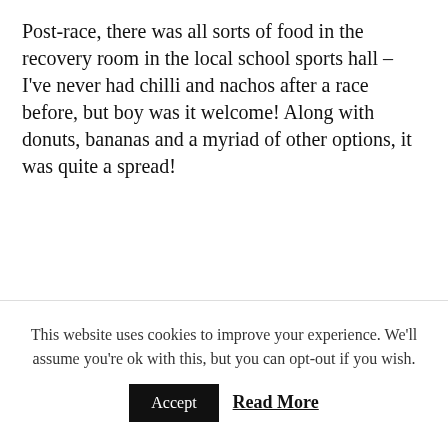Post-race, there was all sorts of food in the recovery room in the local school sports hall – I've never had chilli and nachos after a race before, but boy was it welcome! Along with donuts, bananas and a myriad of other options, it was quite a spread!
From there, our wonderful airbnb hosts allowed us to come back to the house and shower before we made our way back to
This website uses cookies to improve your experience. We'll assume you're ok with this, but you can opt-out if you wish.
Accept
Read More